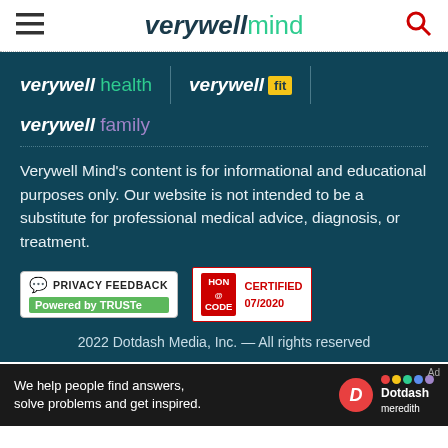verywellmind
[Figure (logo): verywell health logo]
[Figure (logo): verywell fit logo with yellow badge]
[Figure (logo): verywell family logo]
Verywell Mind's content is for informational and educational purposes only. Our website is not intended to be a substitute for professional medical advice, diagnosis, or treatment.
[Figure (other): Privacy Feedback badge - Powered by TRUSTe]
[Figure (other): HON Code Certified 07/2020 badge]
2022 Dotdash Media, Inc. — All rights reserved
[Figure (other): Dotdash Meredith advertisement banner: We help people find answers, solve problems and get inspired.]